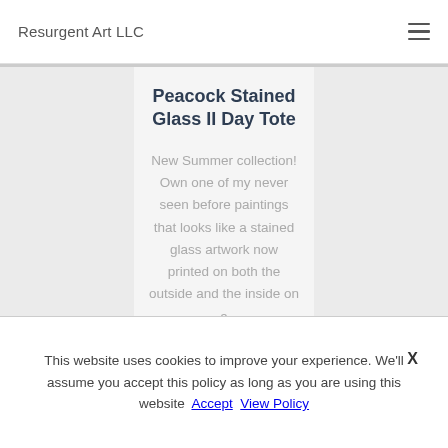Resurgent Art LLC
Peacock Stained Glass II Day Tote
New Summer collection! Own one of my never seen before paintings that looks like a stained glass artwork now printed on both the outside and the inside on a
This website uses cookies to improve your experience. We'll assume you accept this policy as long as you are using this website Accept View Policy